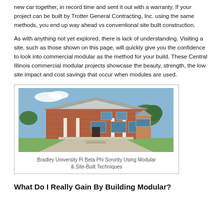new car together, in record time and sent it out with a warranty.  If your project can be built by Trotter General Contracting, Inc. using the same methods, you end up way ahead vs conventional site built construction.
As with anything not yet explored, there is lack of understanding.  Visiting a site, such as those shown on this page, will quickly give you the confidence to look into commercial modular as the method for your build.  These Central Illinois commercial modular projects showcase the beauty, strength, the low site impact and cost savings that occur when modules are used.
[Figure (photo): Photo of Bradley University Pi Beta Phi Sorority building, a two-story brick building with white columns and a portico, constructed using modular and site-built techniques.]
Bradley University Pi Beta Phi Sorority Using Modular & Site-Built Techniques
What Do I Really Gain By Building Modular?